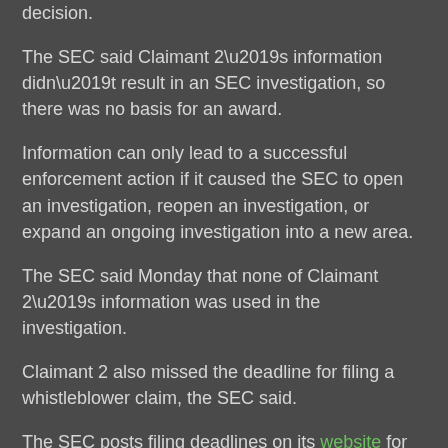decision.
The SEC said Claimant 2’s information didn’t result in an SEC investigation, so there was no basis for an award.
Information can only lead to a successful enforcement action if it caused the SEC to open an investigation, reopen an investigation, or expand an ongoing investigation into a new area.
The SEC said Monday that none of Claimant 2’s information was used in the investigation.
Claimant 2 also missed the deadline for filing a whistleblower claim, the SEC said.
The SEC posts filing deadlines on its website for each “Covered Action.”